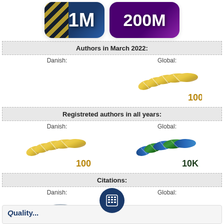[Figure (infographic): Two milestone badges: '1M' on blue/gold striped background and '200M' on purple background]
Authors in March 2022:
Danish:
Global:
[Figure (infographic): Global authors March 2022: Gold wing badge with '100']
Registreted authors in all years:
Danish:
Global:
[Figure (infographic): Danish registered authors all years: Gold wing badge with '100'; Global: Blue/green wing badge with '10K']
Citations:
Danish:
Global:
[Figure (infographic): Danish citations: silver coin stack with W; Global: gold pot/coins with WR; Calculator button in center]
Quality...